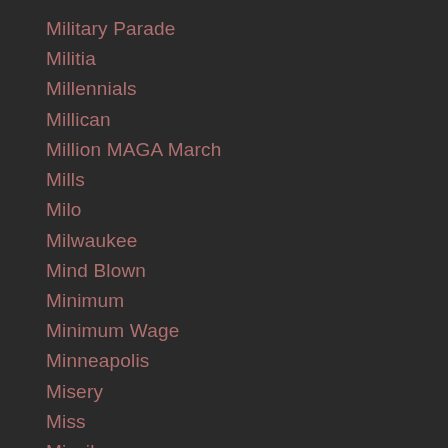Military Parade
Militia
Millennials
Millican
Million MAGA March
Mills
Milo
Milwaukee
Mind Blown
Minimum
Minimum Wage
Minneapolis
Misery
Miss
Missiles
Missle
Missles
Missouri
Missouri'
Missouri Senate